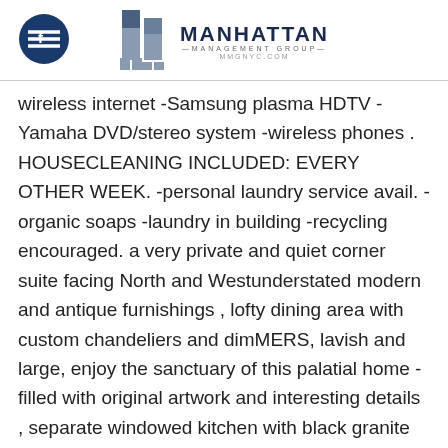[Figure (logo): Manhattan Management Group logo with Facebook icon on the left and building/arrow logo mark with MANHATTAN MANAGEMENT GROUP MMGNYC.COM text on the right]
wireless internet -Samsung plasma HDTV -Yamaha DVD/stereo system -wireless phones . HOUSECLEANING INCLUDED: EVERY OTHER WEEK. -personal laundry service avail. -organic soaps -laundry in building -recycling encouraged. a very private and quiet corner suite facing North and Westunderstated modern and antique furnishings , lofty dining area with custom chandeliers and dimMERS, lavish and large, enjoy the sanctuary of this palatial home -filled with original artwork and interesting details , separate windowed kitchen with black granite counters, sparkling marble floors, dishwasher, microwave and